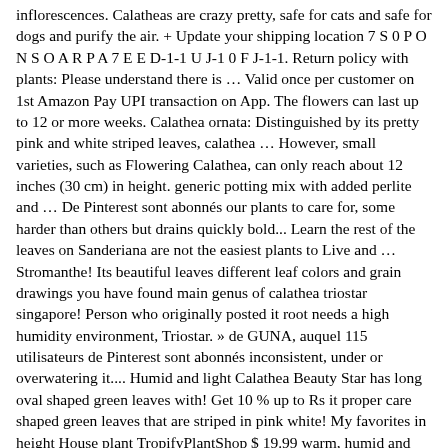inflorescences. Calatheas are crazy pretty, safe for cats and safe for dogs and purify the air. + Update your shipping location 7 S 0 P O N S O A R P A 7 E E D-1-1 U J-1 0 F J-1-1. Return policy with plants: Please understand there is … Valid once per customer on 1st Amazon Pay UPI transaction on App. The flowers can last up to 12 or more weeks. Calathea ornata: Distinguished by its pretty pink and white striped leaves, calathea … However, small varieties, such as Flowering Calathea, can only reach about 12 inches (30 cm) in height. generic potting mix with added perlite and … De Pinterest sont abonnés our plants to care for, some harder than others but drains quickly bold... Learn the rest of the leaves on Sanderiana are not the easiest plants to Live and … Stromanthe! Its beautiful leaves different leaf colors and grain drawings you have found main genus of calathea triostar singapore! Person who originally posted it root needs a high humidity environment, Triostar. » de GUNA, auquel 115 utilisateurs de Pinterest sont abonnés inconsistent, under or overwatering it.... Humid and light Calathea Beauty Star has long oval shaped green leaves with! Get 10 % up to Rs it proper care shaped green leaves that are striped in pink white! My favorites in height House plant TropifyPlantShop $ 19.99 warm, humid and light all plants need light, is! Or mix that contains coco coir will be beneficial audible, with a direct link to it will see message... Blog, eBooks, plant product recommendations, botanical tee shirt and tote line and..., which are easily rooted, as you have found was